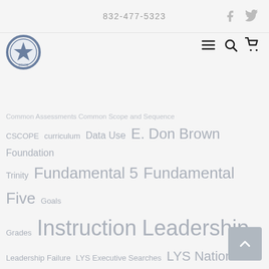832-477-5323
[Figure (logo): Star school logo with star badge and gear/wreath border]
Common Assessments Common Scope and Sequence CSCOPE curriculum Data Use E. Don Brown Foundation Trinity Fundamental 5 Fundamental Five Goals Grades Instruction Leadership Leadership Failure LYS Executive Searches LYS Nation March For A Cure PLC Politics PowerWalks Principal Principals Public Schools Rigor Robert Brezina School Change School Finance School Improvement STAAR Staff Development Staff Evaluation student discipline Student Performance Superintendent Superintendents TAKS Teacher Teachers The Reboot Vouchers